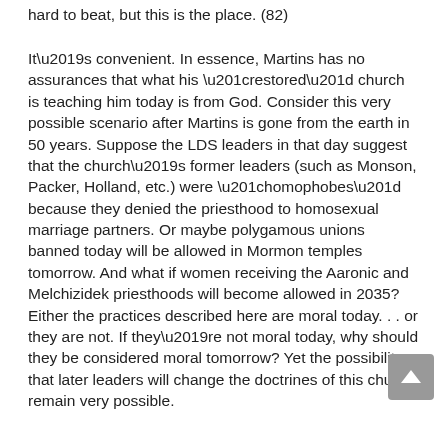hard to beat, but this is the place. (82)
It’s convenient. In essence, Martins has no assurances that what his “restored” church is teaching him today is from God. Consider this very possible scenario after Martins is gone from the earth in 50 years. Suppose the LDS leaders in that day suggest that the church’s former leaders (such as Monson, Packer, Holland, etc.) were “homophobes” because they denied the priesthood to homosexual marriage partners. Or maybe polygamous unions banned today will be allowed in Mormon temples tomorrow. And what if women receiving the Aaronic and Melchizidek priesthoods will become allowed in 2035?  Either the practices described here are moral today. . . or they are not. If they’re not moral today, why should they be considered moral tomorrow? Yet the possibility that later leaders will change the doctrines of this church remain very possible.